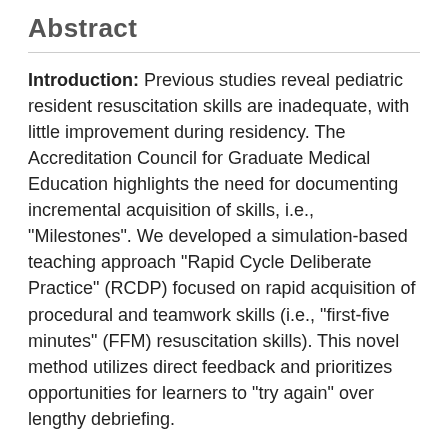Abstract
Introduction: Previous studies reveal pediatric resident resuscitation skills are inadequate, with little improvement during residency. The Accreditation Council for Graduate Medical Education highlights the need for documenting incremental acquisition of skills, i.e., "Milestones". We developed a simulation-based teaching approach "Rapid Cycle Deliberate Practice" (RCDP) focused on rapid acquisition of procedural and teamwork skills (i.e., "first-five minutes" (FFM) resuscitation skills). This novel method utilizes direct feedback and prioritizes opportunities for learners to "try again" over lengthy debriefing.
Participants: Pediatric residents from an academic medical center.
Methods: Prospective pre-post interventional study of residents managing a simulated cardiopulmonary arrest. Main outcome measures include: (1) interval between